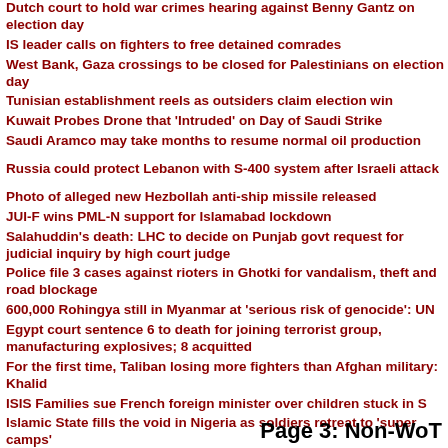Dutch court to hold war crimes hearing against Benny Gantz on election day
IS leader calls on fighters to free detained comrades
West Bank, Gaza crossings to be closed for Palestinians on election day
Tunisian establishment reels as outsiders claim election win
Kuwait Probes Drone that 'Intruded' on Day of Saudi Strike
Saudi Aramco may take months to resume normal oil production
Russia could protect Lebanon with S-400 system after Israeli attack
Photo of alleged new Hezbollah anti-ship missile released
JUI-F wins PML-N support for Islamabad lockdown
Salahuddin's death: LHC to decide on Punjab govt request for judicial inquiry by high court judge
Police file 3 cases against rioters in Ghotki for vandalism, theft and road blockage
600,000 Rohingya still in Myanmar at 'serious risk of genocide': UN
Egypt court sentence 6 to death for joining terrorist group, manufacturing explosives; 8 acquitted
For the first time, Taliban losing more fighters than Afghan military: Khalid
ISIS Families sue French foreign minister over children stuck in S
Islamic State fills the void in Nigeria as soldiers retreat to 'super camps'
Page 3: Non-WoT